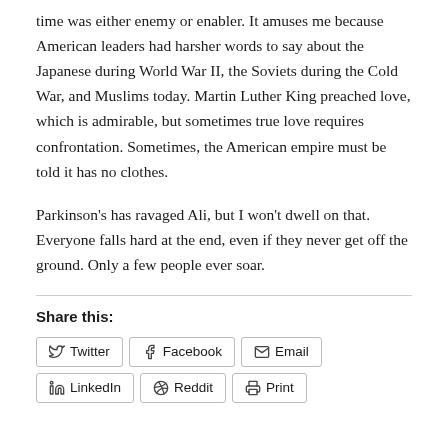time was either enemy or enabler. It amuses me because American leaders had harsher words to say about the Japanese during World War II, the Soviets during the Cold War, and Muslims today. Martin Luther King preached love, which is admirable, but sometimes true love requires confrontation. Sometimes, the American empire must be told it has no clothes.
Parkinson's has ravaged Ali, but I won't dwell on that. Everyone falls hard at the end, even if they never get off the ground. Only a few people ever soar.
Share this: